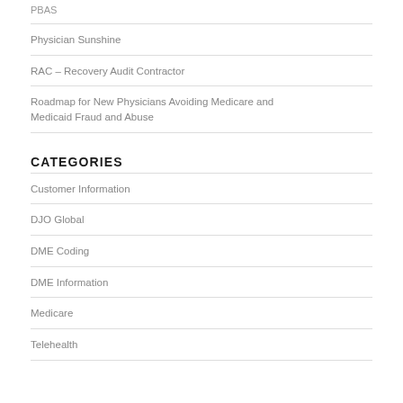PBAS
Physician Sunshine
RAC – Recovery Audit Contractor
Roadmap for New Physicians Avoiding Medicare and Medicaid Fraud and Abuse
CATEGORIES
Customer Information
DJO Global
DME Coding
DME Information
Medicare
Telehealth